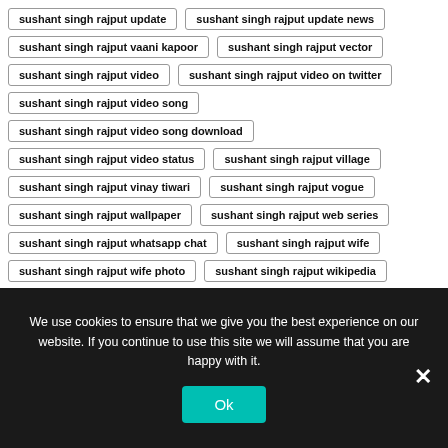sushant singh rajput update
sushant singh rajput update news
sushant singh rajput vaani kapoor
sushant singh rajput vector
sushant singh rajput video
sushant singh rajput video on twitter
sushant singh rajput video song
sushant singh rajput video song download
sushant singh rajput video status
sushant singh rajput village
sushant singh rajput vinay tiwari
sushant singh rajput vogue
sushant singh rajput wallpaper
sushant singh rajput web series
sushant singh rajput whatsapp chat
sushant singh rajput wife
sushant singh rajput wife photo
sushant singh rajput wikipedia
sushant singh rajput wish list
sushant singh rajput with rhea chakraborty
We use cookies to ensure that we give you the best experience on our website. If you continue to use this site we will assume that you are happy with it.